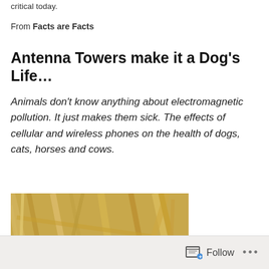critical today.
From Facts are Facts
Antenna Towers make it a Dog's Life…
Animals don't know anything about electromagnetic pollution. It just makes them sick. The effects of cellular and wireless phones on the health of dogs, cats, horses and cows.
[Figure (photo): A dark brown/black Labrador dog peering through golden straw or hay, showing its face with amber eyes]
Follow ···